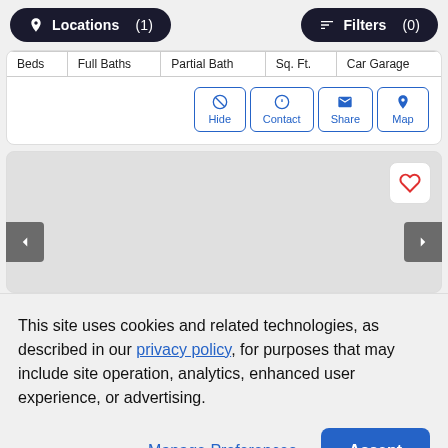[Figure (screenshot): Top navigation bar with Locations (1) and Filters (0) buttons on dark rounded pill backgrounds]
| Beds | Full Baths | Partial Bath | Sq. Ft. | Car Garage |
| --- | --- | --- | --- | --- |
[Figure (screenshot): Action buttons row: Hide, Contact, Share, Map — each with icon and blue text, bordered]
[Figure (screenshot): Gray image card area with heart favorite button (red outline heart) and left/right navigation arrows]
This site uses cookies and related technologies, as described in our privacy policy, for purposes that may include site operation, analytics, enhanced user experience, or advertising.
Manage Preferences | Accept